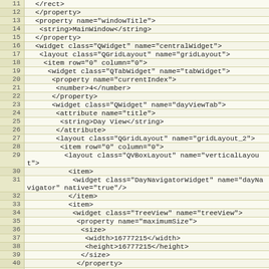[Figure (screenshot): Code editor showing XML/UI file lines 11-41 with line numbers on the left and code content on the right, beige/tan background]